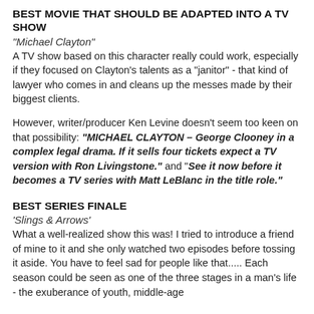BEST MOVIE THAT SHOULD BE ADAPTED INTO A TV SHOW
"Michael Clayton"
A TV show based on this character really could work, especially if they focused on Clayton's talents as a "janitor" - that kind of lawyer who comes in and cleans up the messes made by their biggest clients.
However, writer/producer Ken Levine doesn't seem too keen on that possibility: "MICHAEL CLAYTON – George Clooney in a complex legal drama. If it sells four tickets expect a TV version with Ron Livingstone." and "See it now before it becomes a TV series with Matt LeBlanc in the title role."
BEST SERIES FINALE
'Slings & Arrows'
What a well-realized show this was! I tried to introduce a friend of mine to it and she only watched two episodes before tossing it aside. You have to feel sad for people like that..... Each season could be seen as one of the three stages in a man's life - the exuberance of youth, middle-age